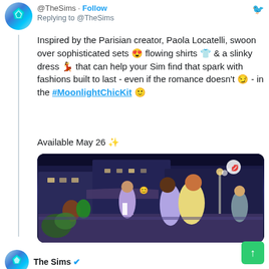@TheSims · Follow
Replying to @TheSims
Inspired by the Parisian creator, Paola Locatelli, swoon over sophisticated sets 😍 flowing shirts 👕 & a slinky dress 💃 that can help your Sim find that spark with fashions built to last - even if the romance doesn't 😏 - in the #MoonlightChicKit 🙂
Available May 26 ✨
[Figure (screenshot): The Sims 4 game screenshot showing Sims characters on a Parisian street at night, with characters kissing and others walking around in stylish outfits near a cafe.]
The Sims ✓